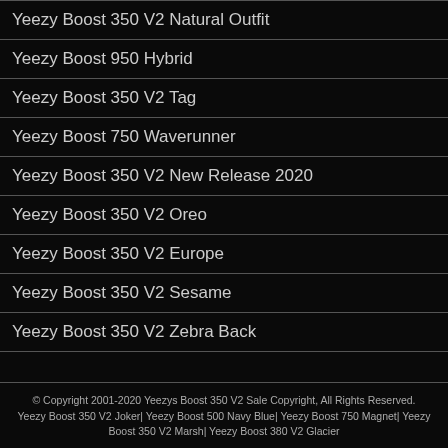Yeezy Boost 350 V2 Natural Outfit
Yeezy Boost 950 Hybrid
Yeezy Boost 350 V2 Tag
Yeezy Boost 750 Waverunner
Yeezy Boost 350 V2 New Release 2020
Yeezy Boost 350 V2 Oreo
Yeezy Boost 350 V2 Europe
Yeezy Boost 350 V2 Sesame
Yeezy Boost 350 V2 Zebra Back
© Copyright 2001-2020 Yeezys Boost 350 V2 Sale Copyright, All Rights Reserved.
Yeezy Boost 350 V2 Joker| Yeezy Boost 500 Navy Blue| Yeezy Boost 750 Magnet| Yeezy Boost 350 V2 Marsh| Yeezy Boost 380 V2 Glacier